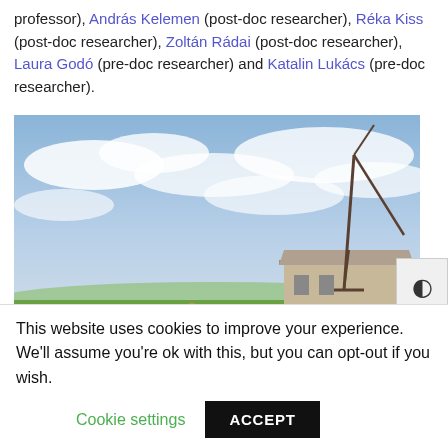professor), András Kelemen (post-doc researcher), Réka Kiss (post-doc researcher), Zoltán Rádai (post-doc researcher), Laura Godó (pre-doc researcher) and Katalin Lukács (pre-doc researcher).
[Figure (photo): Group photo of approximately 11 researchers standing on a grassy field with a tall trebuchet or crane structure behind them, farm buildings visible in the background under a cloudy blue sky.]
This website uses cookies to improve your experience. We'll assume you're ok with this, but you can opt-out if you wish.
Cookie settings   ACCEPT